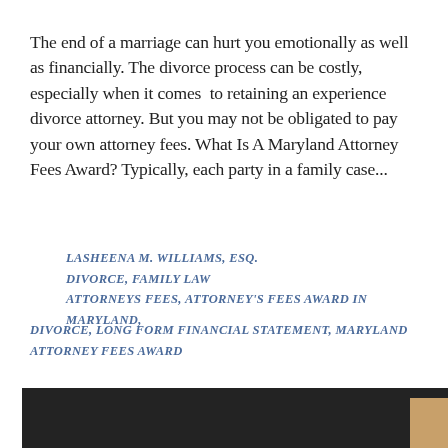The end of a marriage can hurt you emotionally as well as financially. The divorce process can be costly, especially when it comes to retaining an experience divorce attorney. But you may not be obligated to pay your own attorney fees. What Is A Maryland Attorney Fees Award? Typically, each party in a family case...
LASHEENA M. WILLIAMS, ESQ.
DIVORCE, FAMILY LAW
ATTORNEYS FEES, ATTORNEY'S FEES AWARD IN MARYLAND, DIVORCE, LONG FORM FINANCIAL STATEMENT, MARYLAND ATTORNEY FEES AWARD
[Figure (photo): Dark panel image area at bottom of page with a small gold/tan accent rectangle in the lower right corner]